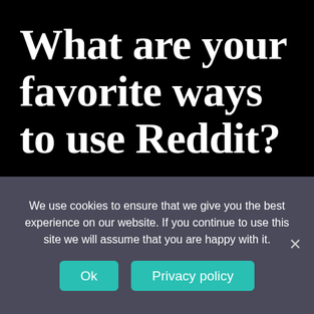What are your favorite ways to use Reddit?
Reddit can be used in a variety of ways. The first method is to go to the website and read various posts and articles. The second option is to register and submit your
We use cookies to ensure that we give you the best experience on our website. If you continue to use this site we will assume that you are happy with it.
Ok
Privacy policy